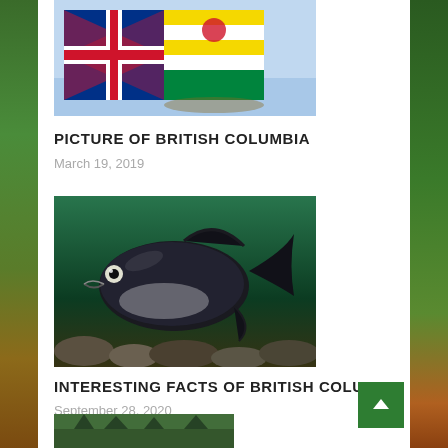[Figure (photo): British Columbia flag waving against a blue sky]
PICTURE OF BRITISH COLUMBIA
March 19, 2019
[Figure (photo): A large dark fish (salmon) swimming underwater near rocky riverbed]
INTERESTING FACTS OF BRITISH COLUMBIA
September 28, 2020
[Figure (photo): Partial view of a nature/landscape scene at the bottom of the page]